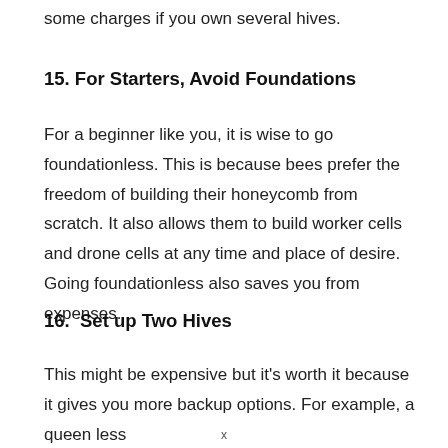some charges if you own several hives.
15. For Starters, Avoid Foundations
For a beginner like you, it is wise to go foundationless. This is because bees prefer the freedom of building their honeycomb from scratch. It also allows them to build worker cells and drone cells at any time and place of desire. Going foundationless also saves you from expenses.
16.  Set up Two Hives
This might be expensive but it's worth it because it gives you more backup options. For example, a queen less
x